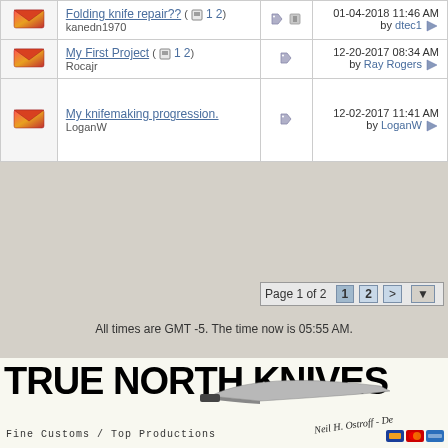|  | Topic | Tags | Last Post |
| --- | --- | --- | --- |
| [icon] | Folding knife repair?? (1 2)
kanedn1970 | [tag][attach] | 01-04-2018 11:46 AM
by dtec1 |
| [icon] | My First Project (1 2)
Rocajr | [tag] | 12-20-2017 08:34 AM
by Ray Rogers |
| [icon] | My knifemaking progression.
LoganW | [tag] | 12-02-2017 11:41 AM
by LoganW |
Page 1 of 2  1  2  >
All times are GMT -5. The time now is 05:55 AM.
[Figure (illustration): True North Knives banner advertisement with large bold text 'TRUE NORTH KNIVES', subtitle 'Fine Customs / Top Productions', a knife image, and 'Neil H. Ostroff - De...' signature]